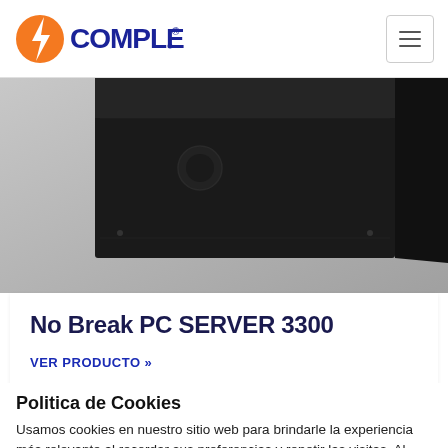COMPLET (logo) — navigation header with hamburger menu
[Figure (photo): Close-up photo of a black No Break PC SERVER 3300 unit against a grey background]
No Break PC SERVER 3300
VER PRODUCTO »
Politica de Cookies
Usamos cookies en nuestro sitio web para brindarle la experiencia más relevante al recordar sus preferencias y repetir las visitas. Al hacer clic en